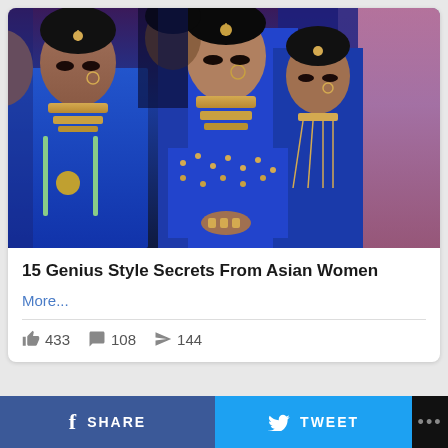[Figure (photo): Group of Indian women dressed in traditional blue bridal attire with gold jewelry, maang tikka, nose rings, and elaborate necklaces. They are wearing embroidered blue lehengas and dupattas.]
15 Genius Style Secrets From Asian Women
More...
433 108 144
SHARE  TWEET  ...